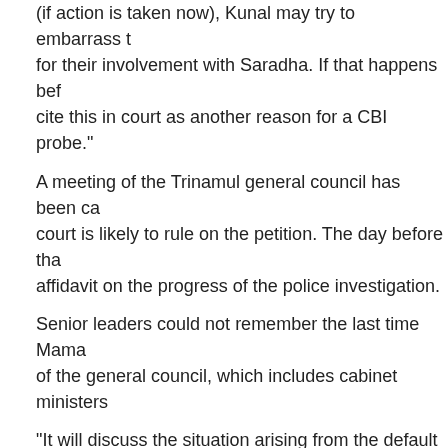(if action is taken now), Kunal may try to embarrass them for their involvement with Saradha. If that happens before, cite this in court as another reason for a CBI probe."
A meeting of the Trinamul general council has been ca... court is likely to rule on the petition. The day before tha... affidavit on the progress of the police investigation.
Senior leaders could not remember the last time Mama... of the general council, which includes cabinet ministers...
"It will discuss the situation arising from the default cris... and some other leaders," a senior minister said.
Ghosh, the face of Saradha as its executive chairman... month, yesterday wrote to Mamata offering to resign as... CBI, Saradha chief Sudipta Sen has accused Ghosh a... of forcing money out of him.
Sources said some other senior Trinamul leaders too h... "if the court orders a CBI probe, chances of their gettin...
A second FIR with non-bailable charges was lodged a...